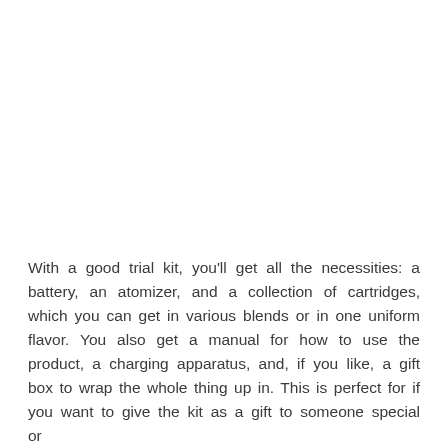With a good trial kit, you'll get all the necessities: a battery, an atomizer, and a collection of cartridges, which you can get in various blends or in one uniform flavor. You also get a manual for how to use the product, a charging apparatus, and, if you like, a gift box to wrap the whole thing up in. This is perfect for if you want to give the kit as a gift to someone special or